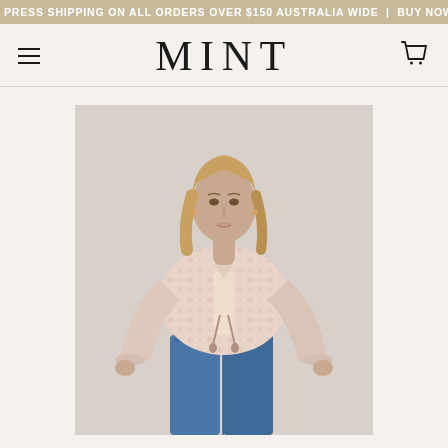PRESS SHIPPING ON ALL ORDERS OVER $150 AUSTRALIA WIDE | BUY NOW
MINT
[Figure (photo): A female model wearing a floral pink/blush long-sleeve boho blouse with tassel ties and blue jeans, photographed against a light grey background.]